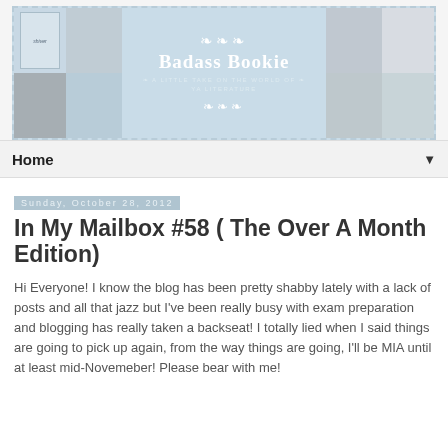[Figure (illustration): Blog header banner for 'Badass Bookie' with collage of book and lifestyle photos on left and right, light blue center with ornamental decorations and blog title text reading 'Badass Bookie' with subtitle 'A Little Take On The World Of YA Literature']
Home
Sunday, October 28, 2012
In My Mailbox #58 ( The Over A Month Edition)
Hi Everyone! I know the blog has been pretty shabby lately with a lack of posts and all that jazz but I've been really busy with exam preparation and blogging has really taken a backseat! I totally lied when I said things are going to pick up again, from the way things are going, I'll be MIA until at least mid-Novemeber! Please bear with me!